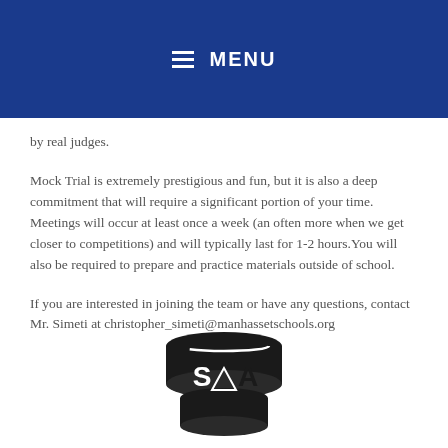MENU
by real judges.
Mock Trial is extremely prestigious and fun, but it is also a deep commitment that will require a significant portion of your time. Meetings will occur at least once a week (an often more when we get closer to competitions) and will typically last for 1-2 hours.You will also be required to prepare and practice materials outside of school.
If you are interested in joining the team or have any questions, contact Mr. Simeti at christopher_simeti@manhassetschools.org
[Figure (logo): Black logo of a scales-of-justice / legal symbol with letters 'S' and 'A' visible, partially cropped at the bottom of the page.]